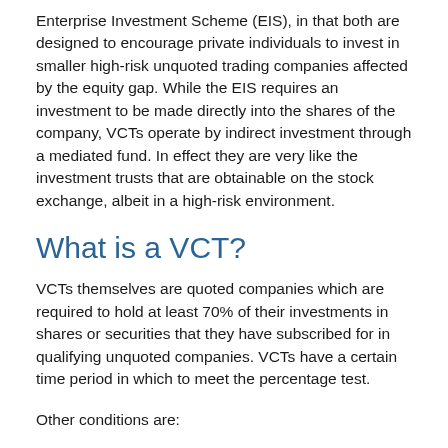Enterprise Investment Scheme (EIS), in that both are designed to encourage private individuals to invest in smaller high-risk unquoted trading companies affected by the equity gap. While the EIS requires an investment to be made directly into the shares of the company, VCTs operate by indirect investment through a mediated fund. In effect they are very like the investment trusts that are obtainable on the stock exchange, albeit in a high-risk environment.
What is a VCT?
VCTs themselves are quoted companies which are required to hold at least 70% of their investments in shares or securities that they have subscribed for in qualifying unquoted companies. VCTs have a certain time period in which to meet the percentage test.
Other conditions are:
they must distribute 85% of their income